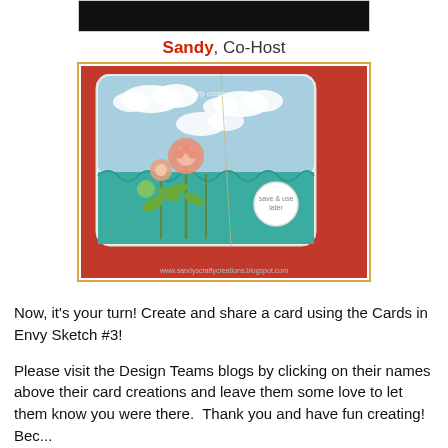[Figure (photo): Partial top image strip, dark/black background, cropped]
Sandy, Co-Host
[Figure (photo): Handmade greeting card with flowers (balloon flowers and daisies) on teal patterned background with blue sky and clouds. White rounded card on red surface. URL: www.sandyscraftycreations.blogspot.com]
Now, it's your turn! Create and share a card using the Cards in Envy Sketch #3!
Please visit the Design Teams blogs by clicking on their names above their card creations and leave them some love to let them know you were there.  Thank you and have fun creating!  Bec...